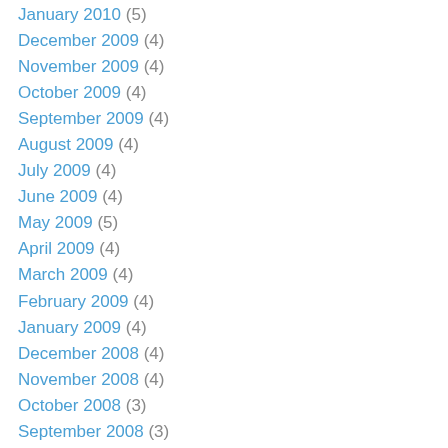January 2010 (5)
December 2009 (4)
November 2009 (4)
October 2009 (4)
September 2009 (4)
August 2009 (4)
July 2009 (4)
June 2009 (4)
May 2009 (5)
April 2009 (4)
March 2009 (4)
February 2009 (4)
January 2009 (4)
December 2008 (4)
November 2008 (4)
October 2008 (3)
September 2008 (3)
August 2008 (4)
July 2008 (4)
June 2008 (4)